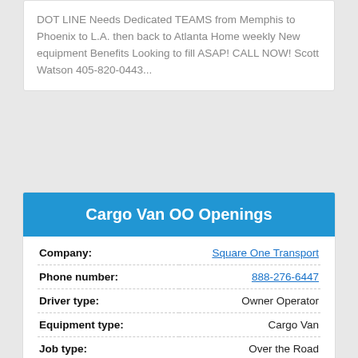DOT LINE Needs Dedicated TEAMS from Memphis to Phoenix to L.A. then back to Atlanta Home weekly New equipment Benefits Looking to fill ASAP! CALL NOW! Scott Watson 405-820-0443...
Cargo Van OO Openings
| Field | Value |
| --- | --- |
| Company: | Square One Transport |
| Phone number: | 888-276-6447 |
| Driver type: | Owner Operator |
| Equipment type: | Cargo Van |
| Job type: | Over the Road |
| Miles per week: | ... |
| Compensation: | ... |
| Bonus: | ... |
| Home time: | ... |
Square One Transport is looking to expand our fleet of 2015 and Newer, Owner Operator Cargo and Sprinter Vans.